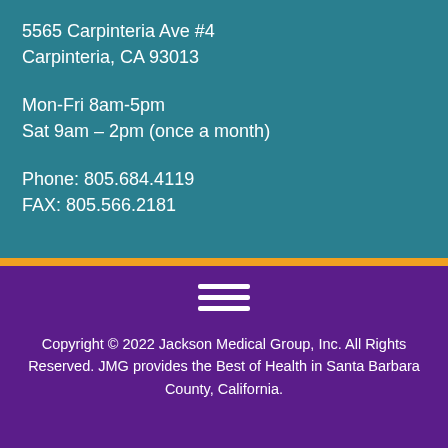5565 Carpinteria Ave #4
Carpinteria, CA 93013
Mon-Fri 8am-5pm
Sat 9am – 2pm (once a month)
Phone: 805.684.4119
FAX: 805.566.2181
[Figure (other): Hamburger menu icon (three horizontal white lines on purple background)]
Copyright © 2022 Jackson Medical Group, Inc. All Rights Reserved. JMG provides the Best of Health in Santa Barbara County, California.